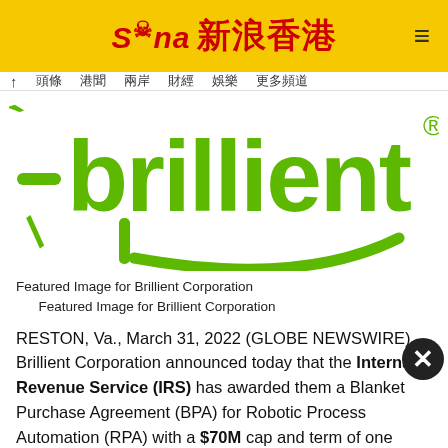Sina 新浪香港
[Figure (logo): Brillient Corporation logo — large green stylized text 'brillient' with registered trademark symbol on white background]
Featured Image for Brillient Corporation
Featured Image for Brillient Corporation
RESTON, Va., March 31, 2022 (GLOBE NEWSWIRE) -- Brillient Corporation announced today that the Internal Revenue Service (IRS) has awarded them a Blanket Purchase Agreement (BPA) for Robotic Process Automation (RPA) with a $70M cap and term of one base year and four one-year option periods. In addition to RPA,